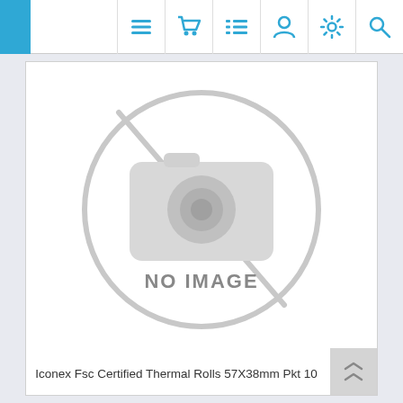Navigation bar with icons: menu, cart, list, user, settings, search
[Figure (other): No image placeholder: a large circle with a camera-slash icon in grey, with text 'NO IMAGE' in the center]
Iconex Fsc Certified Thermal Rolls 57X38mm Pkt 10